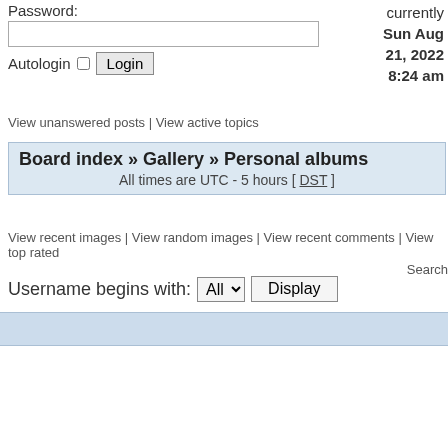Password:
Autologin □ Login
currently Sun Aug 21, 2022 8:24 am
View unanswered posts | View active topics
Board index » Gallery » Personal albums
All times are UTC - 5 hours [ DST ]
View recent images | View random images | View recent comments | View top rated
Search
Username begins with: All ▾ Display
| Album | Images | Last Image |
| --- | --- | --- |
| gixxer | 6 | photo (1) Thu Feb 14, 2013 gixxer |
| goalieman59 | 1 | 12907542597457 Wed Jan 20, 2010 goalieman59 |